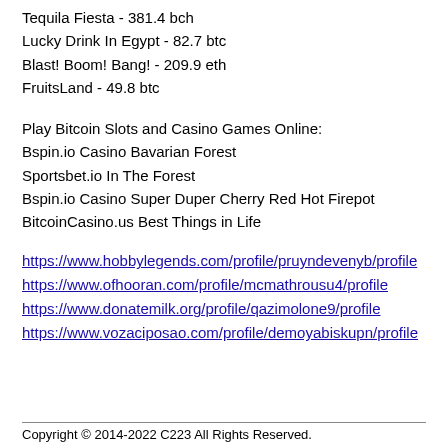Tequila Fiesta - 381.4 bch
Lucky Drink In Egypt - 82.7 btc
Blast! Boom! Bang! - 209.9 eth
FruitsLand - 49.8 btc
Play Bitcoin Slots and Casino Games Online:
Bspin.io Casino Bavarian Forest
Sportsbet.io In The Forest
Bspin.io Casino Super Duper Cherry Red Hot Firepot
BitcoinCasino.us Best Things in Life
https://www.hobbylegends.com/profile/pruyndevenyb/profile
https://www.ofhooran.com/profile/mcmathrousu4/profile
https://www.donatemilk.org/profile/qazimolone9/profile
https://www.vozaciposao.com/profile/demoyabiskupn/profile
Copyright © 2014-2022 C223 All Rights Reserved.